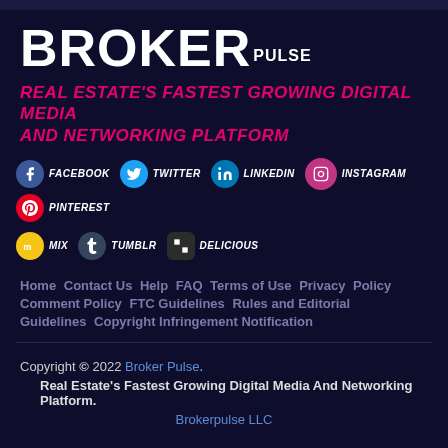BROKER PULSE
REAL ESTATE'S FASTEST GROWING DIGITAL MEDIA AND NETWORKING PLATFORM
FACEBOOK  TWITTER  LINKEDIN  INSTAGRAM  PINTEREST  MIX  TUMBLR  DELICIOUS
Home  Contact Us  Help  FAQ  Terms of Use  Privacy Policy  Comment Policy  FTC Guidelines  Rules and Editorial Guidelines  Copyright Infringement Notification
Copyright © 2022 Broker Pulse. Real Estate's Fastest Growing Digital Media And Networking Platform. Brokerpulse LLC